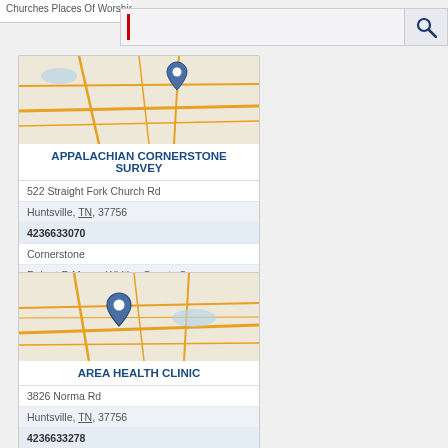Churches Places Of Worship
[Figure (screenshot): Search bar with red cursor and magnifying glass icon]
[Figure (map): Map showing location pin for Appalachian Cornerstone Survey in Huntsville TN area]
APPALACHIAN CORNERSTONE SURVEY
522 Straight Fork Church Rd
Huntsville, TN, 37756
4236633070
Cornerstone
Robert R Moses Whitley County Surveyor
[Figure (map): Map showing location pin for Area Health Clinic in Huntsville TN area]
AREA HEALTH CLINIC
3826 Norma Rd
Huntsville, TN, 37756
4236633278
Clinics
Free Clinic